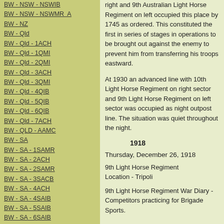BW - NSW - NSWIB
BW - NSW - NSWMR  A
BW - NZ
BW - Qld
BW - Qld - 1ACH
BW - Qld - 1QMI
BW - Qld - 2QMI
BW - Qld - 3ACH
BW - Qld - 3QMI
BW - Qld - 4QIB
BW - Qld - 5QIB
BW - Qld - 6QIB
BW - Qld - 7ACH
BW - QLD - AAMC
BW - SA
BW - SA - 1SAMR
BW - SA - 2ACH
BW - SA - 2SAMR
BW - SA - 3SACB
BW - SA - 4ACH
BW - SA - 4SAIB
BW - SA - 5SAIB
BW - SA - 6SAIB
BW - SA - 8ACH
BW - SA - AAMC
BW - Tas
BW - Tas - 1ACH
BW - Tas - 1TIB
right and 9th Australian Light Horse Regiment on left occupied this place by 1745 as ordered. This constituted the first in series of stages in operations to be brought out against the enemy to prevent him from transferring his troops eastward.
At 1930 an advanced line with 10th Light Horse Regiment on right sector and 9th Light Horse Regiment on left sector was occupied as night outpost line. The situation was quiet throughout the night.
1918
Thursday, December 26, 1918
9th Light Horse Regiment
Location - Tripoli
9th Light Horse Regiment War Diary - Competitors practicing for Brigade Sports.